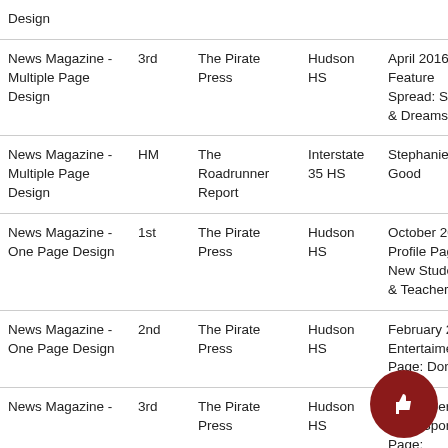| Category | Place | Publication | School | Entry Title |  |
| --- | --- | --- | --- | --- | --- |
| News Magazine - Multiple Page Design |  |  |  | Design |  |
| News Magazine - Multiple Page Design | 3rd | The Pirate Press | Hudson HS | April 2016 Feature Spread: Sleep & Dreams | Ab La |
| News Magazine - Multiple Page Design | HM | The Roadrunner Report | Interstate 35 HS | Stephanie Good | Ni |
| News Magazine - One Page Design | 1st | The Pirate Press | Hudson HS | October 2016 Profile Page: New Student & Teachers | Pa Sh |
| News Magazine - One Page Design | 2nd | The Pirate Press | Hudson HS | February 2017 Entertaiment Page: Donuts | Ab La |
| News Magazine - | 3rd | The Pirate Press | Hudson HS | December 2016 Sports Page: | Ko |